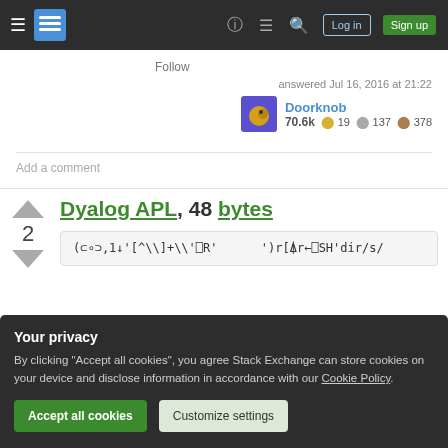Stack Exchange navigation bar with Log in and Sign up buttons
Follow
answered Jul 16, 2016 at 21:22
Doorknob 70.6k ● 19 ● 137 ● 378
Add a comment
Dyalog APL, 48 bytes
(⊂∘⊃,1↓'[^\]+\\'⎕R'      ')r[⍋r←⎕SH'dir/s/
Your privacy
By clicking "Accept all cookies", you agree Stack Exchange can store cookies on your device and disclose information in accordance with our Cookie Policy.
Accept all cookies  Customize settings